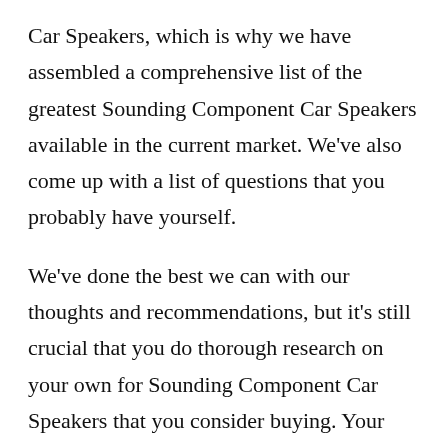Car Speakers, which is why we have assembled a comprehensive list of the greatest Sounding Component Car Speakers available in the current market. We've also come up with a list of questions that you probably have yourself.
We've done the best we can with our thoughts and recommendations, but it's still crucial that you do thorough research on your own for Sounding Component Car Speakers that you consider buying. Your questions might include the following:
Is it worth buying an Sounding Component